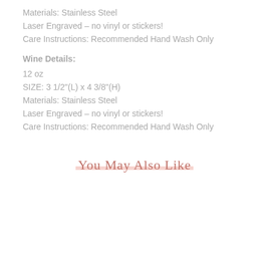Materials: Stainless Steel
Laser Engraved – no vinyl or stickers!
Care Instructions: Recommended Hand Wash Only
Wine Details:
12 oz
SIZE: 3 1/2"(L) x 4 3/8"(H)
Materials: Stainless Steel
Laser Engraved – no vinyl or stickers!
Care Instructions: Recommended Hand Wash Only
You May Also Like